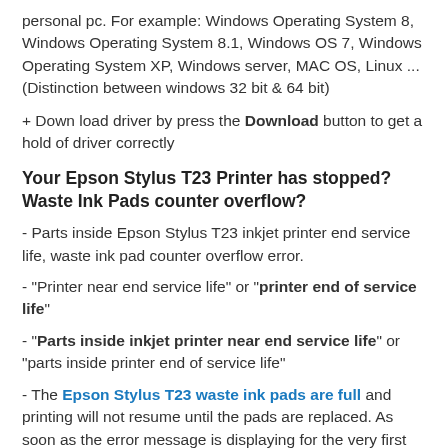personal pc. For example: Windows Operating System 8, Windows Operating System 8.1, Windows OS 7, Windows Operating System XP, Windows server, MAC OS, Linux ... (Distinction between windows 32 bit & 64 bit)
+ Down load driver by press the Download button to get a hold of driver correctly
Your Epson Stylus T23 Printer has stopped? Waste Ink Pads counter overflow?
- Parts inside Epson Stylus T23 inkjet printer end service life, waste ink pad counter overflow error.
- "Printer near end service life" or "printer end of service life"
- "Parts inside inkjet printer near end service life" or "parts inside printer end of service life"
- The Epson Stylus T23 waste ink pads are full and printing will not resume until the pads are replaced. As soon as the error message is displaying for the very first time, the ink pad is printed out before follow the counter must be...